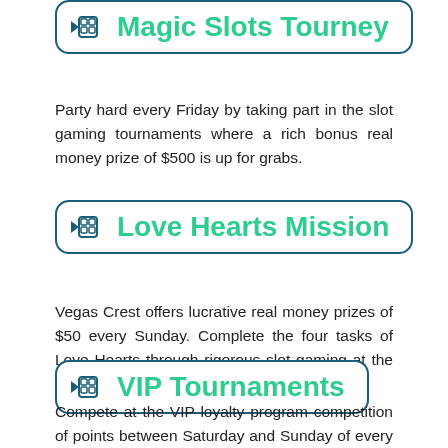Magic Slots Tourney
Party hard every Friday by taking part in the slot gaming tournaments where a rich bonus real money prize of $500 is up for grabs.
Love Hearts Mission
Vegas Crest offers lucrative real money prizes of $50 every Sunday. Complete the four tasks of Love Hearts through rigorous slot gaming at the casino.
VIP Tournaments
Compete at the VIP loyalty program competition of points between Saturday and Sunday of every week to ace a chunk of the prize pool of $1500. Players have to collect comp points to take part in the VIP program with heavy their